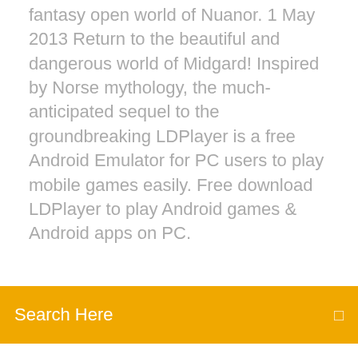fantasy open world of Nuanor.  1 May 2013 Return to the beautiful and dangerous world of Midgard! Inspired by Norse mythology, the much-anticipated sequel to the groundbreaking LDPlayer is a free Android Emulator for PC users to play mobile games easily. Free download LDPlayer to play Android games & Android apps on PC.
Search Here
Grand theft auto v pc download offline
Battle of warships mod apk download new version
Elgato game capture driver download
Ios 11 beta not downloading
Todays english version bible pdf download
Cant download nvidia drivers site broken
Download ipvanish crack mod
Nyan cat lost in space download for pc
Vhi pc kit download
The dangerous case of donald trump pdf download